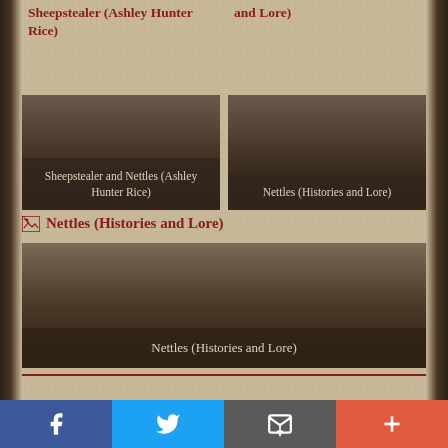Sheepstealer (Ashley Hunter Rice)
[Figure (photo): Book cover card: Sheepstealer and Nettles (Ashley Hunter Rice) with dark gradient image area]
Sheepstealer and Nettles (Ashley Hunter Rice)
[Figure (photo): Book cover card: Nettles (Histories and Lore) with dark gradient image area]
Nettles (Histories and Lore)
[Figure (photo): Broken image link for Nettles (Histories and Lore)]
[Figure (photo): Large book cover card for Nettles (Histories and Lore)]
Nettles (Histories and Lore)
Facebook | Twitter | Email | More